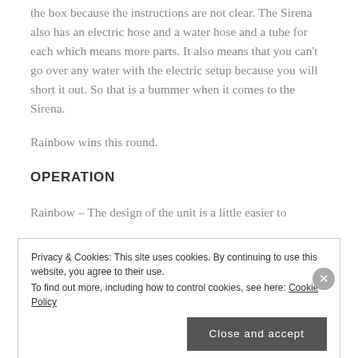the box because the instructions are not clear. The Sirena also has an electric hose and a water hose and a tube for each which means more parts. It also means that you can't go over any water with the electric setup because you will short it out. So that is a bummer when it comes to the Sirena.
Rainbow wins this round.
OPERATION
Rainbow – The design of the unit is a little easier to
Privacy & Cookies: This site uses cookies. By continuing to use this website, you agree to their use.
To find out more, including how to control cookies, see here: Cookie Policy
[Close and accept]